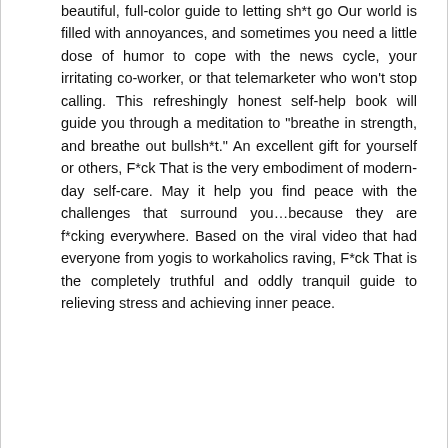beautiful, full-color guide to letting sh*t go Our world is filled with annoyances, and sometimes you need a little dose of humor to cope with the news cycle, your irritating co-worker, or that telemarketer who won't stop calling. This refreshingly honest self-help book will guide you through a meditation to "breathe in strength, and breathe out bullsh*t." An excellent gift for yourself or others, F*ck That is the very embodiment of modern-day self-care. May it help you find peace with the challenges that surround you…because they are f*cking everywhere. Based on the viral video that had everyone from yogis to workaholics raving, F*ck That is the completely truthful and oddly tranquil guide to relieving stress and achieving inner peace.